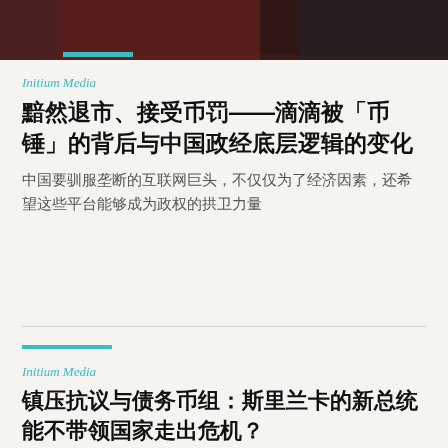[Figure (photo): Partial photo at top of page showing dark reddish/dark tones, likely a person or scene]
Initium Media
黯然退市、接受币罚——滴滴被「币锤」的背后与中国政经底层逻辑的变化
中国要驯服垄断的互联网巨头，不仅仅为了经济因素，还希望这些平台能够成为政权的拱卫力量
Initium Media
镇压抗议与债务币组：斯里兰卡的新总统能不带领国家走出危机？